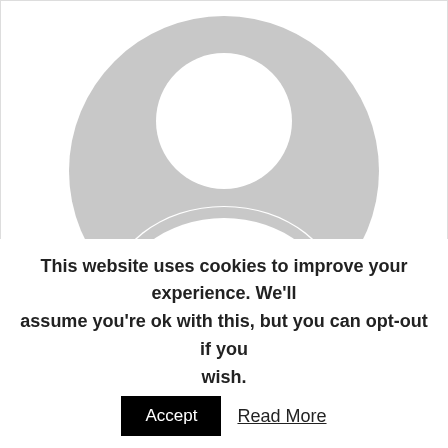[Figure (illustration): Default grey avatar/profile placeholder image showing a silhouette of a person (head circle and shoulders arc) on a grey circular background]
Jon Hege
Reply
June 5, 2013 @ 17:23
This website uses cookies to improve your experience. We'll assume you're ok with this, but you can opt-out if you wish.  Accept  Read More